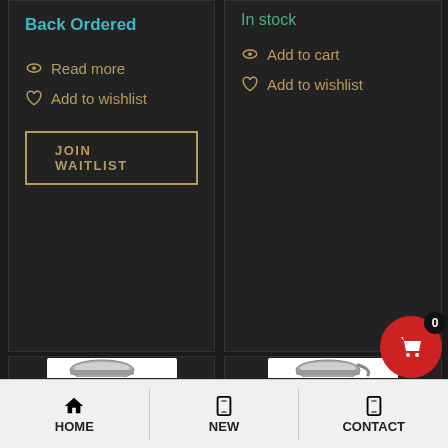Back Ordered
Read more
Add to wishlist
JOIN WAITLIST
In stock
Add to cart
Add to wishlist
[Figure (photo): Shopping cart icon with item count badge showing 0]
[Figure (photo): Stainless steel mug product image (left)]
[Figure (photo): Stainless steel mug with handle product image (right)]
HOME | NEW | CONTACT